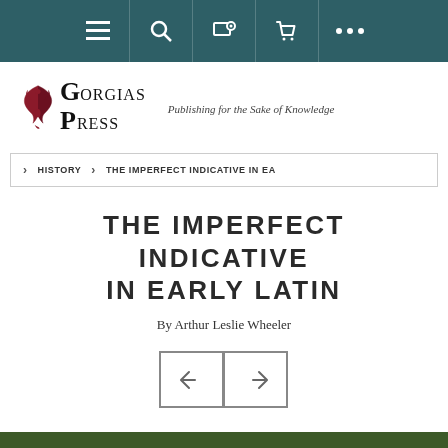Navigation bar with menu, search, account, cart, and more icons
[Figure (logo): Gorgias Press logo with decorative bird emblem and italic tagline 'Publishing for the Sake of Knowledge']
> HISTORY > THE IMPERFECT INDICATIVE IN EA
THE IMPERFECT INDICATIVE IN EARLY LATIN
By Arthur Leslie Wheeler
[Figure (other): Left and right navigation arrow buttons in bordered square boxes]